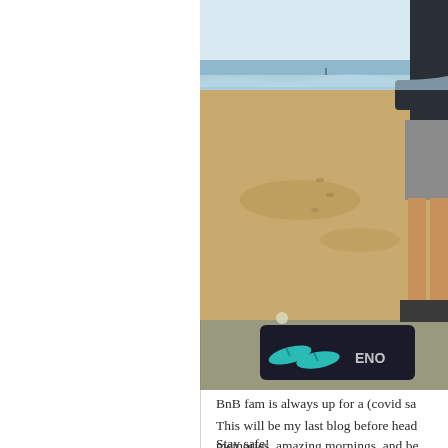[Figure (photo): A person standing on a sandy beach with ocean waves in the background. There are teal/turquoise flip-flops and a dark sports bag (with text 'ENO' visible) at the bottom of the image. The person is wearing shorts and a dark jacket, visible from mid-torso down.]
BnB fam is always up for a (covid sa
This will be my last blog before head memories, amazing mornings, and be
Stay safe!